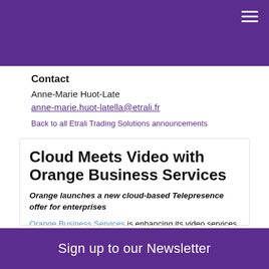Contact
Anne-Marie Huot-Late
anne-marie.huot-latella@etrali.fr
Back to all Etrali Trading Solutions announcements
Cloud Meets Video with Orange Business Services
Orange launches a new cloud-based Telepresence offer for enterprises
Orange Business Services is enhancing its video services portfolio with Telepresence Pass, a new cloud-based offer that delivers professionally
Sign up to our Newsletter